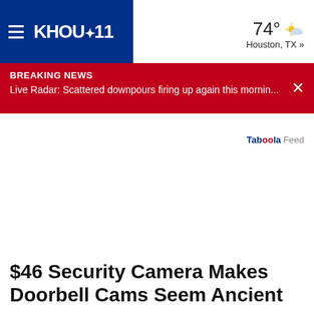KHOU 11 | 74° Houston, TX »
BREAKING NEWS
Live Radar: Scattered downpours firing up again this mornin...
Taboola Feed
$46 Security Camera Makes Doorbell Cams Seem Ancient